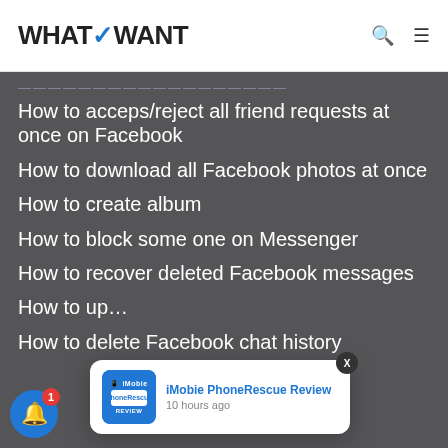WHATVWANT
How to acceps/reject all friend requests at once on Facebook
How to download all Facebook photos at once
How to create album
How to block some one on Messenger
How to recover deleted Facebook messages
How to up…
How to delete Facebook chat history
[Figure (screenshot): iMobie PhoneRescue Review notification popup with app icon, title 'iMobie PhoneRescue Review', and timestamp '10 hours ago']